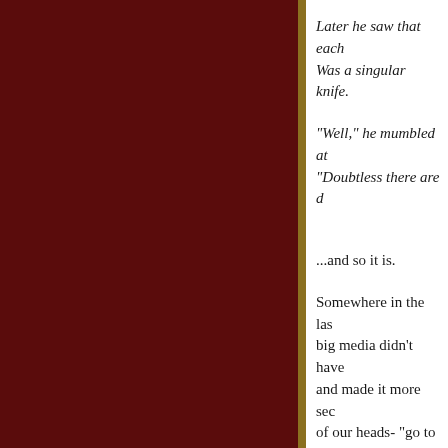Later he saw that each Was a singular knife.
"Well," he mumbled at "Doubtless there are d
...and so it is.
Somewhere in the last big media didn't have and made it more sec of our heads- "go to sl
Well, Wikipedia is a d Ther surrounded by pole da